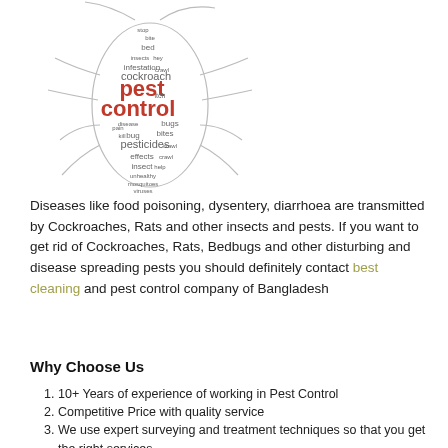[Figure (illustration): Word cloud shaped like a cockroach/insect with words related to pest control. Key words include 'pest control' in red, and smaller words like 'cockroach', 'infestation', 'insects', 'bed', 'bite', 'stop', 'bugs', 'bug', 'bites', 'pesticides', 'effects', 'crawl', 'insect', 'help', 'unhealthy', 'mosquitoes', 'pain', 'kill', 'itch'.]
Diseases like food poisoning, dysentery, diarrhoea are transmitted by Cockroaches, Rats and other insects and pests. If you want to get rid of Cockroaches, Rats, Bedbugs and other disturbing and disease spreading pests you should definitely contact best cleaning and pest control company of Bangladesh
Why Choose Us
10+ Years of experience of working in Pest Control
Competitive Price with quality service
We use expert surveying and treatment techniques so that you get the right services
Our treatment methods are safe and approved
We provide long-term protection plans based on your needs
Click on Book Now from below and submit your Name, Phone Number and Address. We will call you ASAP and confirm the